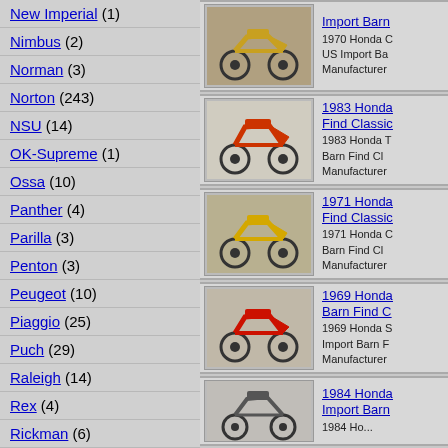New Imperial (1)
Nimbus (2)
Norman (3)
Norton (243)
NSU (14)
OK-Supreme (1)
Ossa (10)
Panther (4)
Parilla (3)
Penton (3)
Peugeot (10)
Piaggio (25)
Puch (29)
Raleigh (14)
Rex (4)
Rickman (6)
[Figure (photo): 1970 Honda motorcycle, yellow, small dirt bike style]
Import Barn Find Classic
1970 Honda C
US Import Ba
Manufacturer
[Figure (photo): 1983 Honda motorcycle, red and orange dirt bike]
1983 Honda — Barn Find Classic
1983 Honda T
Barn Find Cl
Manufacturer
[Figure (photo): 1971 Honda motorcycle, yellow/gold classic bike]
1971 Honda — Barn Find Classic
1971 Honda C
Barn Find Cl
Manufacturer
[Figure (photo): 1969 Honda motorcycle, red classic bike]
1969 Honda — Barn Find C
1969 Honda S
Import Barn F
Manufacturer
[Figure (photo): 1984 Honda motorcycle, partial view]
1984 Honda — Import Barn
1984 Ho...